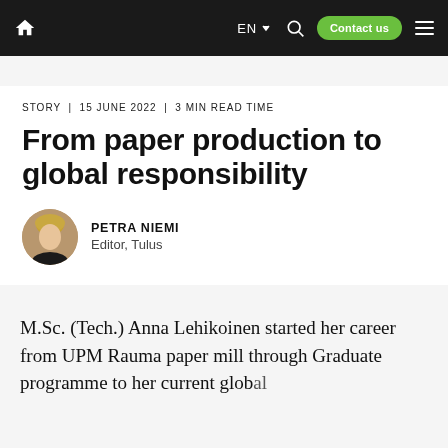EN | Contact us
STORY | 15 JUNE 2022 | 3 MIN READ TIME
From paper production to global responsibility
PETRA NIEMI
Editor, Tulus
M.Sc. (Tech.) Anna Lehikoinen started her career from UPM Rauma paper mill through Graduate programme to her current global